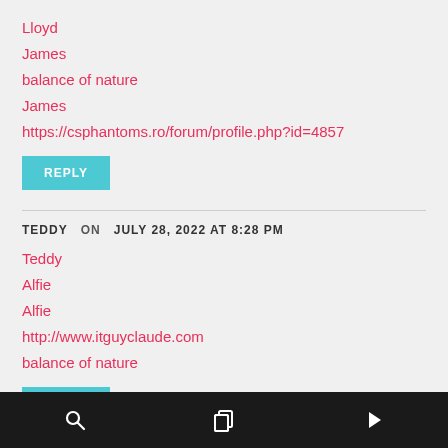Lloyd
James
balance of nature
James
https://csphantoms.ro/forum/profile.php?id=4857
REPLY
TEDDY   ON   JULY 28, 2022 AT 8:28 PM
Teddy
Alfie
Alfie
http://www.itguyclaude.com
balance of nature
REPLY